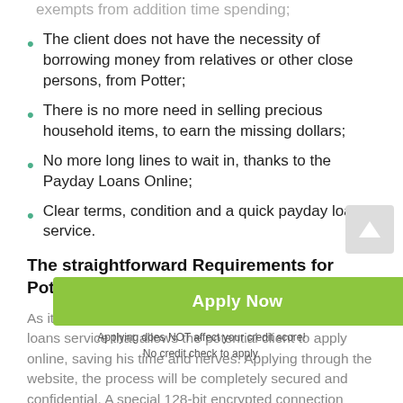exempts from addition time spending;
The client does not have the necessity of borrowing money from relatives or other close persons, from Potter;
There is no more need in selling precious household items, to earn the missing dollars;
No more long lines to wait in, thanks to the Payday Loans Online;
Clear terms, condition and a quick payday loans service.
The straightforward Requirements for Potter Payday Loans in Nebraska
As it was already mentioned, there is a working payday loans service that allows the potential client to apply online, saving his time and nerves. Applying through the website, the process will be completely secured and confidential. A special 128-bit encrypted connection
[Figure (infographic): Green 'Apply Now' button overlay with text 'Applying does NOT affect your credit score! No credit check to apply.']